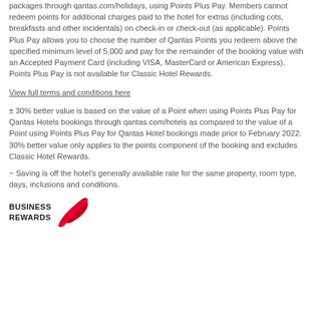packages through qantas.com/holidays, using Points Plus Pay. Members cannot redeem points for additional charges paid to the hotel for extras (including cots, breakfasts and other incidentals) on check-in or check-out (as applicable). Points Plus Pay allows you to choose the number of Qantas Points you redeem above the specified minimum level of 5,000 and pay for the remainder of the booking value with an Accepted Payment Card (including VISA, MasterCard or American Express). Points Plus Pay is not available for Classic Hotel Rewards.
View full terms and conditions here
± 30% better value is based on the value of a Point when using Points Plus Pay for Qantas Hotels bookings through qantas.com/hotels as compared to the value of a Point using Points Plus Pay for Qantas Hotel bookings made prior to February 2022. 30% better value only applies to the points component of the booking and excludes Classic Hotel Rewards.
~ Saving is off the hotel's generally available rate for the same property, room type, days, inclusions and conditions.
[Figure (logo): Qantas Business Rewards logo with kangaroo tail icon in red]